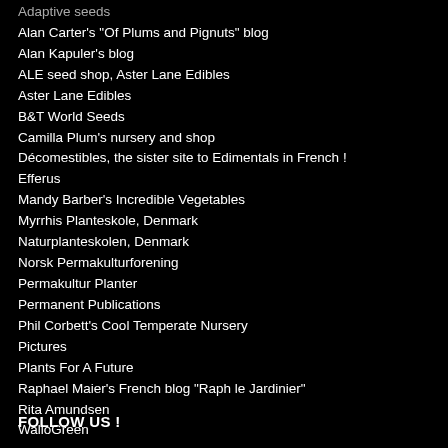Adaptive seeds
Alan Carter's "Of Plums and Pignuts" blog
Alan Kapuler's blog
ALE seed shop, Aster Lane Edibles
Aster Lane Edibles
B&T World Seeds
Camilla Plum's nursery and shop
Décomestibles, the sister site to Edimentals in French !
Efferus
Mandy Barber's Incredible Vegetables
Myrrhis Planteskole, Denmark
Naturplanteskolen, Denmark
Norsk Permakulturforening
Permakultur Planter
Permanent Publications
Phil Corbett's Cool Temperate Nursery
Pictures
Plants For A Future
Raphael Maier's French blog "Raph le Jardinier"
Rita Amundsen
WalloGreen
FOLLOW US !